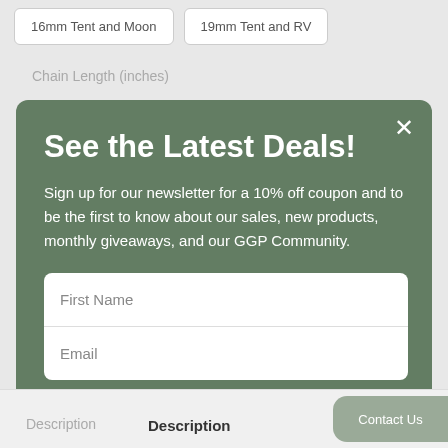16mm Tent and Moon
19mm Tent and RV
Chain Length (inches)
See the Latest Deals!
Sign up for our newsletter for a 10% off coupon and to be the first to know about our sales, new products, monthly giveaways, and our GGP Community.
First Name
Email
SIGN UP
This site is protected by reCAPTCHA and the Google Privacy Policy and Terms of Service apply.
Description
Description
Contact Us